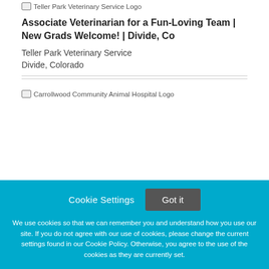[Figure (logo): Teller Park Veterinary Service Logo placeholder image]
Associate Veterinarian for a Fun-Loving Team | New Grads Welcome! | Divide, Co
Teller Park Veterinary Service
Divide, Colorado
[Figure (logo): Carrollwood Community Animal Hospital Logo placeholder image]
Cookie Settings  Got it
We use cookies so that we can remember you and understand how you use our site. If you do not agree with our use of cookies, please change the current settings found in our Cookie Policy. Otherwise, you agree to the use of the cookies as they are currently set.